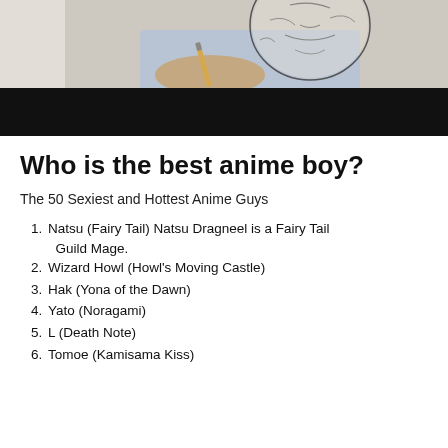[Figure (photo): Photo of a hand drawing an anime character sketch with a pencil on paper; lower portion of image is a black bar]
Who is the best anime boy?
The 50 Sexiest and Hottest Anime Guys
Natsu (Fairy Tail) Natsu Dragneel is a Fairy Tail Guild Mage.
Wizard Howl (Howl's Moving Castle)
Hak (Yona of the Dawn)
Yato (Noragami)
L (Death Note)
Tomoe (Kamisama Kiss)